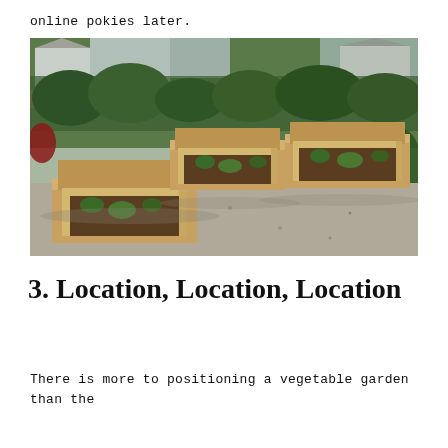online pokies later.
[Figure (photo): Four wooden raised garden beds arranged on a gravel surface in a backyard garden, surrounded by lush green plants and a wooden fence in the background.]
3. Location, Location, Location
There is more to positioning a vegetable garden than the